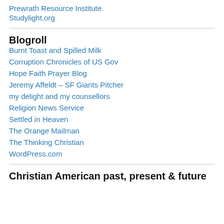Prewrath Resource Institute.
Studylight.org
Blogroll
Burnt Toast and Spilled Milk
Corruption Chronicles of US Gov
Hope Faith Prayer Blog
Jeremy Affeldt – SF Giants Pitcher
my delight and my counsellors
Religion News Service
Settled in Heaven
The Orange Mailman
The Thinking Christian
WordPress.com
Christian American past, present & future